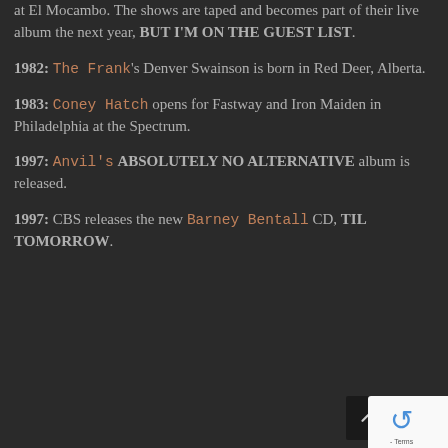at El Mocambo. The shows are taped and becomes part of their live album the next year, BUT I'M ON THE GUEST LIST.
1982: The Frank's Denver Swainson is born in Red Deer, Alberta.
1983: Coney Hatch opens for Fastway and Iron Maiden in Philadelphia at the Spectrum.
1997: Anvil's ABSOLUTELY NO ALTERNATIVE album is released.
1997: CBS releases the new Barney Bentall CD, TIL TOMORROW.